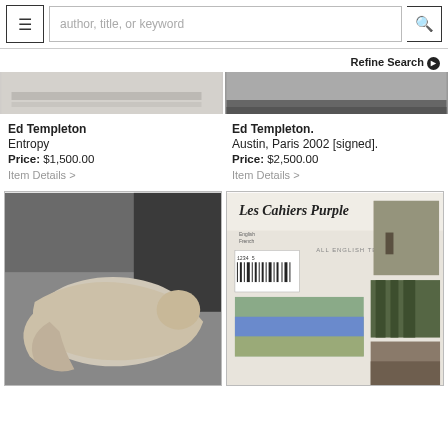≡  author, title, or keyword  🔍
Refine Search ❯
[Figure (photo): Partial top view of a book or artwork with light grey tones]
[Figure (photo): Partial top view of a dark book cover or photograph]
Ed Templeton
Entropy
Price: $1,500.00
Item Details >
Ed Templeton.
Austin, Paris 2002 [signed].
Price: $2,500.00
Item Details >
[Figure (photo): Black and white photo of a child lying on a couch/sofa]
[Figure (photo): Cover of Les Cahiers Purple magazine with collage of nature photographs]